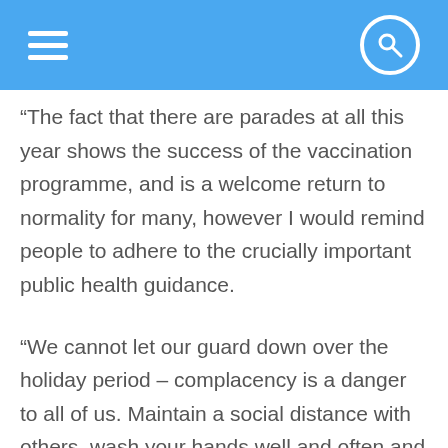“The fact that there are parades at all this year shows the success of the vaccination programme, and is a welcome return to normality for many, however I would remind people to adhere to the crucially important public health guidance.
“We cannot let our guard down over the holiday period – complacency is a danger to all of us. Maintain a social distance with others, wash your hands well and often and wear a mask where you are required.